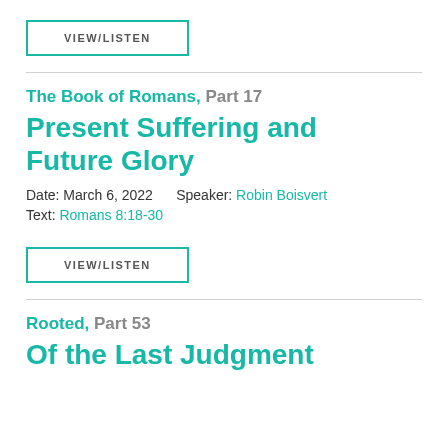[Figure (other): VIEW/LISTEN button with teal border]
The Book of Romans, Part 17
Present Suffering and Future Glory
Date: March 6, 2022    Speaker: Robin Boisvert
Text: Romans 8:18-30
[Figure (other): VIEW/LISTEN button with teal border]
Rooted, Part 53
Of the Last Judgment